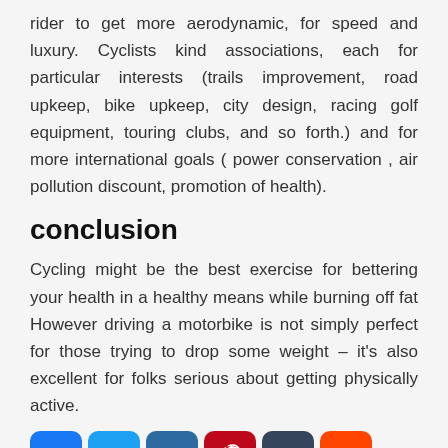rider to get more aerodynamic, for speed and luxury. Cyclists kind associations, each for particular interests (trails improvement, road upkeep, bike upkeep, city design, racing golf equipment, touring clubs, and so forth.) and for more international goals ( power conservation , air pollution discount, promotion of health).
conclusion
Cycling might be the best exercise for bettering your health in a healthy means while burning off fat However driving a motorbike is not simply perfect for those trying to drop some weight – it's also excellent for folks serious about getting physically active.
[Figure (infographic): Row of social media sharing icon buttons: Facebook (blue), Twitter (blue), Email (teal/dark blue), Pinterest (dark red), Tumblr (dark blue-gray), Reddit (orange-red), LinkedIn (teal), WhatsApp (green), Blogger (orange), Copy Link (blue). A partial Facebook button visible at bottom left.]